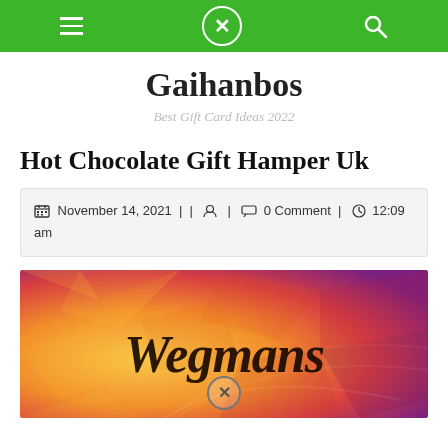Navigation bar with hamburger menu, close button, and search icon on green background
Gaihanbos
Best Gift Card Ideas 2022
Hot Chocolate Gift Hamper Uk
November 14, 2021 | | 🧑 | 💬 0 Comment | 🕐 12:09 am
[Figure (photo): Wegmans gift card with colorful gradient background in yellow, orange, red, and purple tones, with 'Wegmans' written in script font]